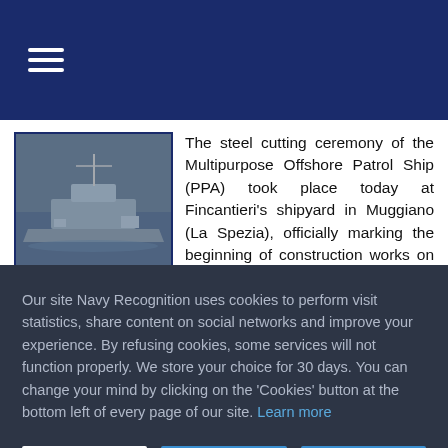≡
[Figure (photo): A naval multipurpose offshore patrol ship (PPA) at sea, viewed from above at an angle, against a grey-blue water background.]
The steel cutting ceremony of the Multipurpose Offshore Patrol Ship (PPA) took place today at Fincantieri's shipyard in Muggiano (La Spezia), officially marking the beginning of construction works on the first unit. The ceremony was attended among others by the Undersecretary of State for Defence, Domenico Rossi,
Our site Navy Recognition uses cookies to perform visit statistics, share content on social networks and improve your experience. By refusing cookies, some services will not function properly. We store your choice for 30 days. You can change your mind by clicking on the 'Cookies' button at the bottom left of every page of our site. Learn more
Settings
Accept all
Refuse all